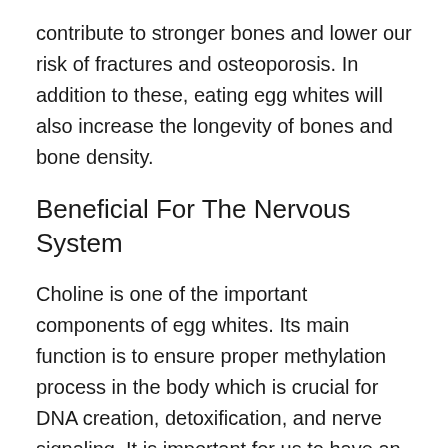contribute to stronger bones and lower our risk of fractures and osteoporosis. In addition to these, eating egg whites will also increase the longevity of bones and bone density.
Beneficial For The Nervous System
Choline is one of the important components of egg whites. Its main function is to ensure proper methylation process in the body which is crucial for DNA creation, detoxification, and nerve signaling. It is important for us to have an adequate level of choline in order to lower our risk of any damage to the nervous system.